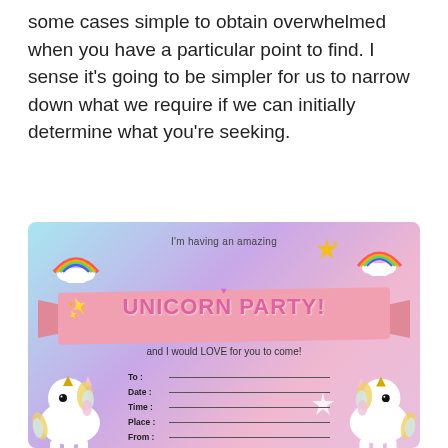some cases simple to obtain overwhelmed when you have a particular point to find. I sense it's going to be simpler for us to narrow down what we require if we can initially determine what you're seeking.
[Figure (illustration): A colorful unicorn party invitation card with pastel rainbow gradient background, two white unicorns in the corners, rainbow decorations, stars, a pink ribbon banner reading 'UNICORN PARTY!', cursive text 'I'm having an amazing' and 'and I would LOVE for you to come!', and fill-in fields for To, Date, Time, Place, From, and R.S.V.P.]